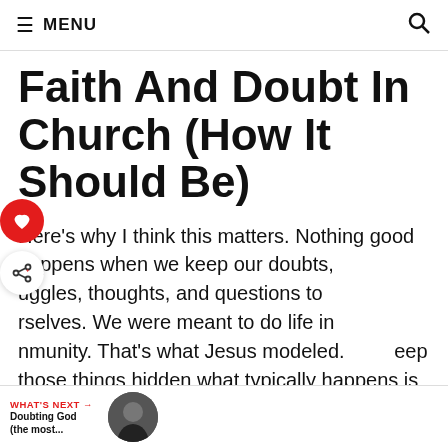≡ MENU  🔍
Faith And Doubt In Church (How It Should Be)
Here's why I think this matters. Nothing good happens when we keep our doubts, struggles, thoughts, and questions to ourselves. We were meant to do life in community. That's what Jesus modeled. ...keep those things hidden what typically happens is they fester and can ultimately lead to our faith being destroyed